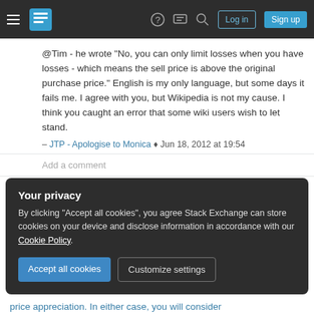Stack Exchange navigation bar with hamburger menu, logo, help, chat, search icons, Log in and Sign up buttons
@Tim - he wrote "No, you can only limit losses when you have losses - which means the sell price is above the original purchase price." English is my only language, but some days it fails me. I agree with you, but Wikipedia is not my cause. I think you caught an error that some wiki users wish to let stand.
– JTP - Apologise to Monica ♦ Jun 18, 2012 at 19:54
Add a comment
1 Answer
Sorted by: Highest score (default)
Your privacy
By clicking "Accept all cookies", you agree Stack Exchange can store cookies on your device and disclose information in accordance with our Cookie Policy.
Accept all cookies  Customize settings
price appreciation. In either case, you will consider